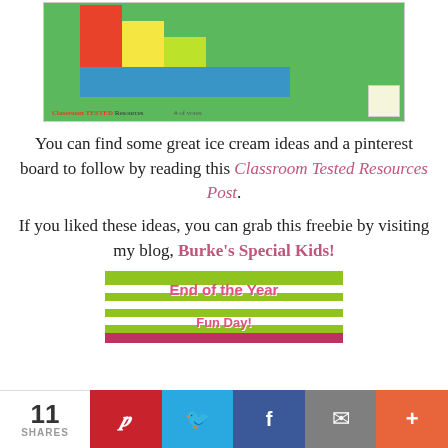[Figure (photo): A classroom bar chart made with colored paper on a green board, showing stacked bars in red, yellow, lime green, and blue. Text reads 'Classroom TESTED Resources' and '# of votes'. A small logo box is in the bottom right corner.]
You can find some great ice cream ideas and a pinterest board to follow by reading this Classroom Tested Resources Post. If you liked these ideas, you can grab this freebie by visiting my blog, Burke's Special Kids!
[Figure (illustration): Banner image with lime green and white stripes, pink bold text reading 'End of the Year Fun Day!' and a pink/red bar at the bottom.]
11 SHARES | Pinterest | Twitter | Facebook | Email | More